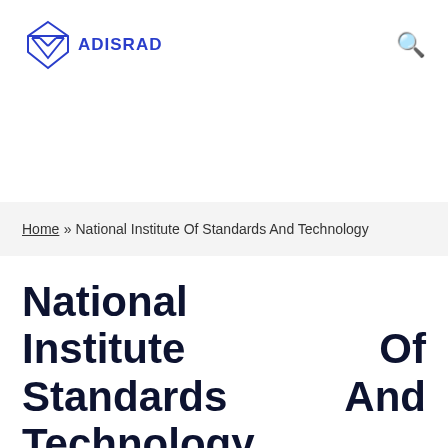VADISRAD
Home » National Institute Of Standards And Technology
National Institute Of Standards And Technology
BY SANDY • 17/03/2022 • GADGETS